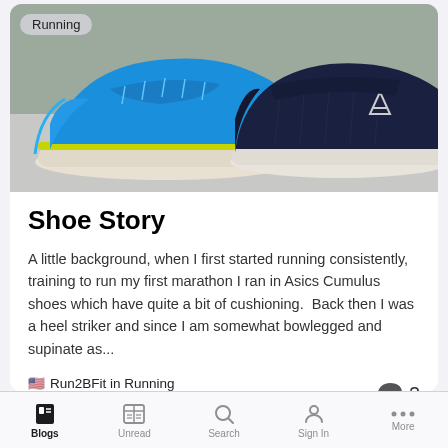[Figure (photo): Two running shoes side by side on a white surface against a gray-green wall background. Left shoe is bright blue (Altra) with yellow-green accent, right shoe is dark navy blue/black (Altra) with white sole and silver logo. A 'Running' badge/tag appears in the upper left corner of the image.]
Shoe Story
A little background, when I first started running consistently, training to run my first marathon I ran in Asics Cumulus shoes which have quite a bit of cushioning.  Back then I was a heel striker and since I am somewhat bowlegged and supinate as...
🇺🇸 Run2BFit in Running
March 16, 2021
Blogs  Unread  Search  Sign In  More